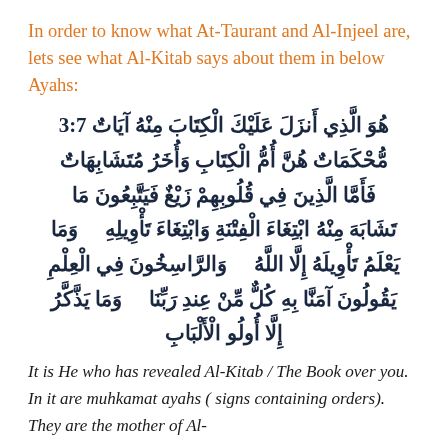In order to know what At-Taurant and Al-Injeel are, lets see what Al-Kitab says about them in below Ayahs:
3:7 هُوَ الَّذِي أَنزَلَ عَلَيْكَ الْكِتَابَ مِنْهُ آيَاتٌ مُّحْكَمَاتٌ هُنَّ أُمُّ الْكِتَابِ وَأُخَرُ مُتَشَابِهَاتٌ فَأَمَّا الَّذِينَ فِي قُلُوبِهِمْ زَيْغٌ فَيَتَّبِعُونَ مَا تَشَابَهَ مِنْهُ ابْتِغَاءَ الْفِتْنَةِ وَابْتِغَاءَ تَأْوِيلِهِ وَمَا يَعْلَمُ تَأْوِيلَهُ إِلَّا اللَّهُ وَالرَّاسِخُونَ فِي الْعِلْمِ يَقُولُونَ آمَنَّا بِهِ كُلٌّ مِّنْ عِندِ رَبِّنَا وَمَا يَذَّكَّرُ إِلَّا أُولُو الْأَلْبَابِ
It is He who has revealed Al-Kitab / The Book over you. In it are muhkamat ayahs ( signs containing orders). They are the mother of Al-